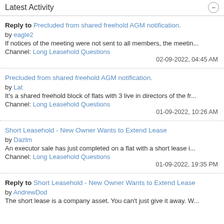Latest Activity
Reply to Precluded from shared freehold AGM notification. by eagle2
If notices of the meeting were not sent to all members, the meetin...
Channel: Long Leasehold Questions
02-09-2022, 04:45 AM
Precluded from shared freehold AGM notification. by Lat
It's a shared freehold block of flats with 3 live in directors of the fr...
Channel: Long Leasehold Questions
01-09-2022, 10:26 AM
Short Leasehold - New Owner Wants to Extend Lease by Dazlm
An executor sale has just completed on a flat with a short lease i...
Channel: Long Leasehold Questions
01-09-2022, 19:35 PM
Reply to Short Leasehold - New Owner Wants to Extend Lease by AndrewDod
The short lease is a company asset. You can't just give it away. W...